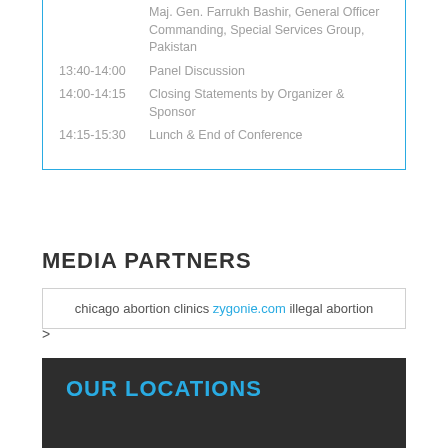| Time | Event |
| --- | --- |
|  | Maj. Gen. Farrukh Bashir, General Officer Commanding, Special Services Group, Pakistan |
| 13:40-14:00 | Panel Discussion |
| 14:00-14:15 | Closing Statements by Organizer & Sponsor |
| 14:15-15:30 | Lunch & End of Conference |
MEDIA PARTNERS
chicago abortion clinics zygonie.com illegal abortion
>
OUR LOCATIONS